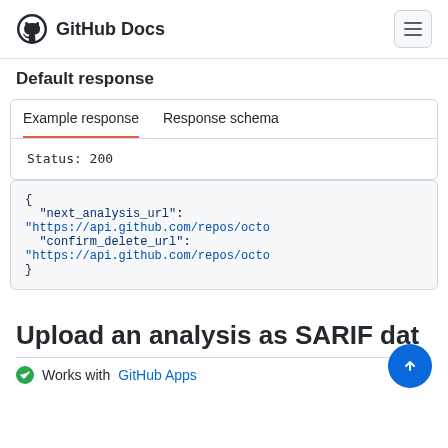GitHub Docs
Default response
Example response	Response schema
Status: 200
{
  "next_analysis_url": "https://api.github.com/repos/octo...
  "confirm_delete_url": "https://api.github.com/repos/octo...
}
Upload an analysis as SARIF data
Works with GitHub Apps